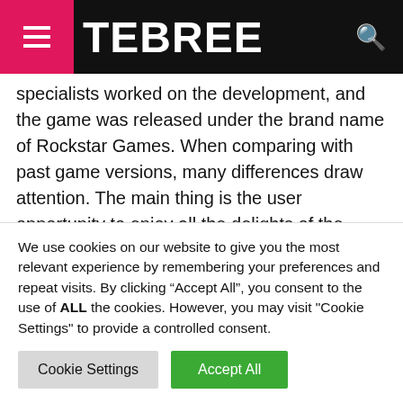TEBREE
specialists worked on the development, and the game was released under the brand name of Rockstar Games. When comparing with past game versions, many differences draw attention. The main thing is the user opportunity to enjoy all the delights of the game. The three-dimensional space has become the owner of a more attractive look.
The game was released a long time ago, but its relevance is still not lost. The event line develops in a city named as
We use cookies on our website to give you the most relevant experience by remembering your preferences and repeat visits. By clicking “Accept All”, you consent to the use of ALL the cookies. However, you may visit "Cookie Settings" to provide a controlled consent.